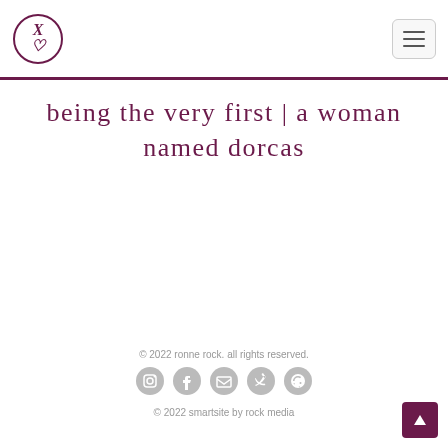[Figure (logo): XL logo in a circle with purple/maroon color]
being the very first | a woman named dorcas
© 2022 ronne rock. all rights reserved.
[Figure (infographic): Social media icons: Instagram, Facebook, LinkedIn, Twitter, Pinterest in gray]
© 2022 smartsite by rock media